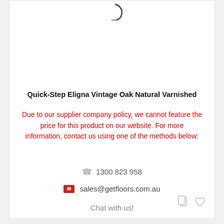[Figure (other): Partial loading spinner arc icon at top of product card]
Quick-Step Eligna Vintage Oak Natural Varnished
Due to our supplier company policy, we cannot feature the price for this product on our website. For more information, contact us using one of the methods below:
1300 823 958
sales@getfloors.com.au
Chat with us!